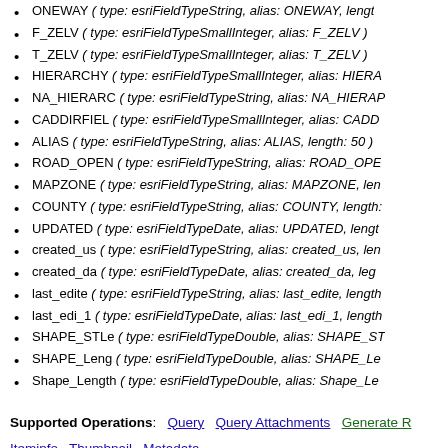ONEWAY ( type: esriFieldTypeString, alias: ONEWAY, length: ... )
F_ZELV ( type: esriFieldTypeSmallInteger, alias: F_ZELV )
T_ZELV ( type: esriFieldTypeSmallInteger, alias: T_ZELV )
HIERARCHY ( type: esriFieldTypeSmallInteger, alias: HIERA... )
NA_HIERARC ( type: esriFieldTypeString, alias: NA_HIERAP... )
CADDIRFIEL ( type: esriFieldTypeSmallInteger, alias: CADD... )
ALIAS ( type: esriFieldTypeString, alias: ALIAS, length: 50 )
ROAD_OPEN ( type: esriFieldTypeString, alias: ROAD_OPE... )
MAPZONE ( type: esriFieldTypeString, alias: MAPZONE, len... )
COUNTY ( type: esriFieldTypeString, alias: COUNTY, length:... )
UPDATED ( type: esriFieldTypeDate, alias: UPDATED, leng... )
created_us ( type: esriFieldTypeString, alias: created_us, len... )
created_da ( type: esriFieldTypeDate, alias: created_da, leg... )
last_edite ( type: esriFieldTypeString, alias: last_edite, length... )
last_edi_1 ( type: esriFieldTypeDate, alias: last_edi_1, length... )
SHAPE_STLe ( type: esriFieldTypeDouble, alias: SHAPE_ST... )
SHAPE_Leng ( type: esriFieldTypeDouble, alias: SHAPE_Le... )
Shape_Length ( type: esriFieldTypeDouble, alias: Shape_Le... )
Supported Operations: Query | Query Attachments | Generate R...
Iteminfo | Thumbnail | Metadata